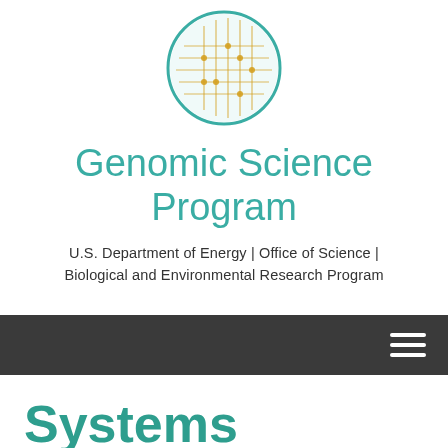[Figure (logo): Circular logo with globe/circuit board design in teal and gold colors for the Genomic Science Program]
Genomic Science Program
U.S. Department of Energy | Office of Science | Biological and Environmental Research Program
[Figure (other): Dark navigation bar with hamburger menu icon on the right]
Systems Biology to Advance Sustainable